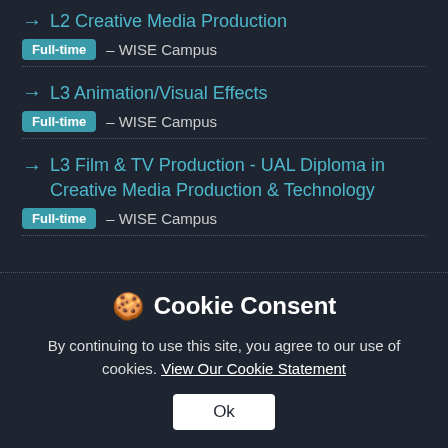→ L2 Creative Media Production — Full-time – WISE Campus
→ L3 Animation/Visual Effects — Full-time – WISE Campus
→ L3 Film & TV Production - UAL Diploma in Creative Media Production & Technology — Full-time – WISE Campus
Cookie Consent
By continuing to use this site, you agree to our use of cookies. View Our Cookie Statement
Ok